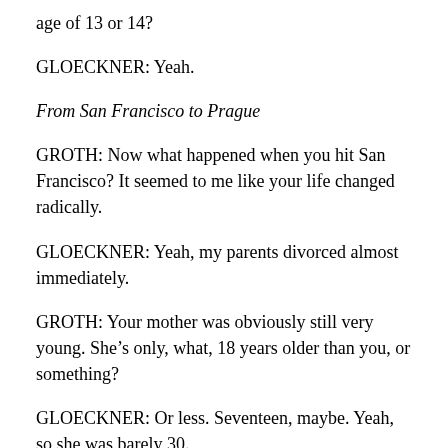age of 13 or 14?
GLOECKNER: Yeah.
From San Francisco to Prague
GROTH: Now what happened when you hit San Francisco? It seemed to me like your life changed radically.
GLOECKNER: Yeah, my parents divorced almost immediately.
GROTH: Your mother was obviously still very young. She’s only, what, 18 years older than you, or something?
GLOECKNER: Or less. Seventeen, maybe. Yeah, so she was barely 30.
GROTH: So, how do you characterize what happened